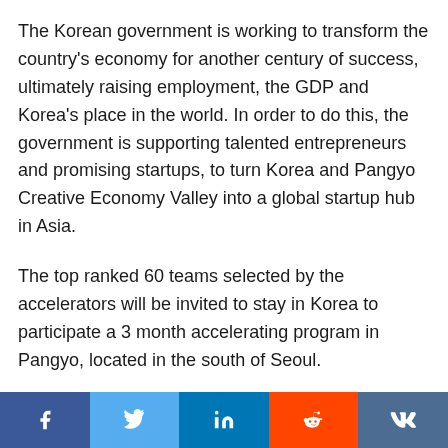The Korean government is working to transform the country's economy for another century of success, ultimately raising employment, the GDP and Korea's place in the world. In order to do this, the government is supporting talented entrepreneurs and promising startups, to turn Korea and Pangyo Creative Economy Valley into a global startup hub in Asia.
The top ranked 60 teams selected by the accelerators will be invited to stay in Korea to participate a 3 month accelerating program in Pangyo, located in the south of Seoul.
At the end of the acceleration program, the
[Figure (infographic): Social media share bar with Facebook, Twitter, LinkedIn, Reddit, and VK buttons]